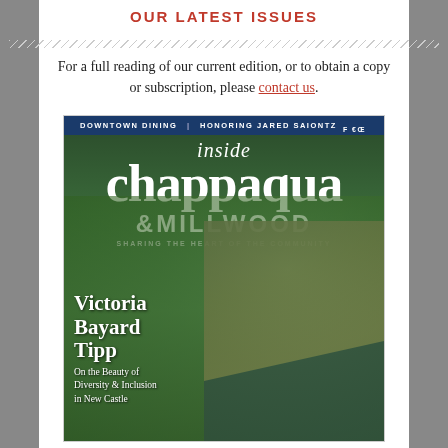OUR LATEST ISSUES
For a full reading of our current edition, or to obtain a copy or subscription, please contact us.
[Figure (photo): Magazine cover of 'inside chappaqua & MILLWOOD — SHARING THE HEART OF THE COMMUNITY' featuring Victoria Bayard Tipp, with the subheading 'On the Beauty of Diversity & Inclusion in New Castle'. Top bar reads 'DOWNTOWN DINING | HONORING JARED SAIONTZ'.]